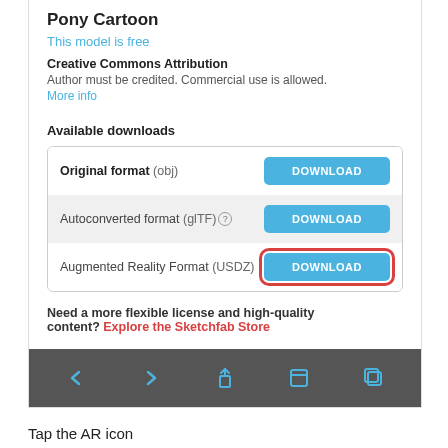Pony Cartoon
This model is free
Creative Commons Attribution
Author must be credited. Commercial use is allowed. More info
Available downloads
| Format | Action |
| --- | --- |
| Original format (obj) | DOWNLOAD |
| Autoconverted format (glTF) ℹ | DOWNLOAD |
| Augmented Reality Format (USDZ) | DOWNLOAD |
Need a more flexible license and high-quality content? Explore the Sketchfab Store
[Figure (screenshot): Mobile browser toolbar with back, forward, share, reader, and tabs icons]
Tap the AR icon